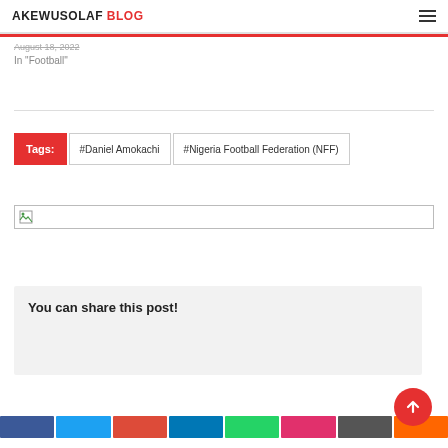AKEWUSOLAF BLOG
August 18, 2022
In "Football"
#Daniel Amokachi   #Nigeria Football Federation (NFF)
[Figure (other): Broken image placeholder with small icon]
You can share this post!